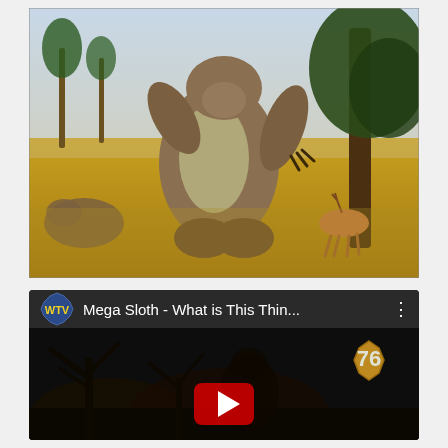[Figure (photo): Illustration of a giant ground sloth (Megatherium) standing upright near a tree, with a deer running away and another sloth resting in a golden grassland scene with palm trees in the background.]
[Figure (screenshot): YouTube video thumbnail card with WTV channel logo, title 'Mega Sloth - What is This Thin...', a Fallout 76 logo badge in the top right, a YouTube play button at the bottom center, and a dark background with silhouetted scene.]